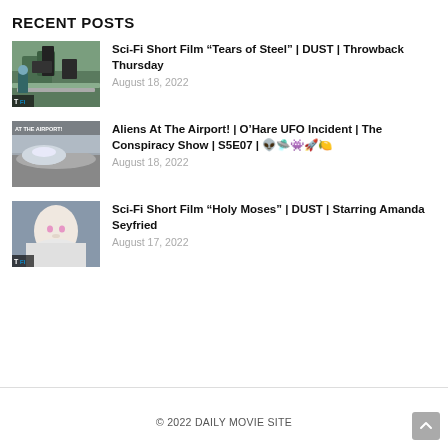RECENT POSTS
Sci-Fi Short Film “Tears of Steel” | DUST | Throwback Thursday
August 18, 2022
Aliens At The Airport! | O’Hare UFO Incident | The Conspiracy Show | S5E07 | 👽🛸👽🚀🥌
August 18, 2022
Sci-Fi Short Film “Holy Moses” | DUST | Starring Amanda Seyfried
August 17, 2022
© 2022 DAILY MOVIE SITE